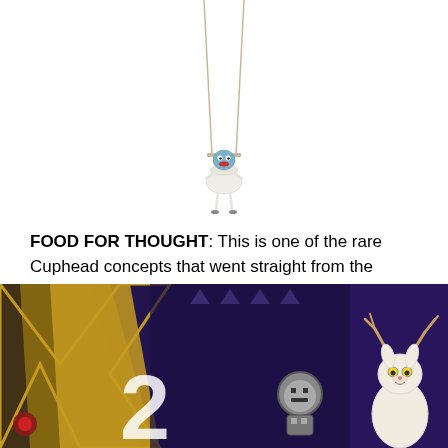[Figure (illustration): A small character (Cuphead concept art) hanging from a trapeze swing, shown against a white background. The figure appears to be a cup-headed character in white/blue tones sitting on a small swing suspended by ropes.]
FOOD FOR THOUGHT: This is one of the rare Cuphead concepts that went straight from the drawing board to the game with minimal alterations. That's kind of amazing since this is the highlight of the King Dice bosses. Maybe not visually, as I think some of the others are much more outlandish and vibrant. But, it's incredible how they got it right with little-to-no tweaking of the concept. It's really something. And just so we're clear, it really was beautiful.
[Figure (screenshot): A colorful game screenshot showing a circus/casino themed level from Cuphead. Features bold geometric shapes in purple, gold/yellow, and red. A white cartoon rabbit character with antlers is visible on the right side, and a round robotic character is in the center. The background has a deep purple and blue color scheme with decorative triangular patterns.]